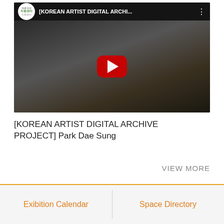[Figure (screenshot): YouTube video thumbnail showing an elderly man with white hair and beard in a dark studio setting. The video is titled '[KOREAN ARTIST DIGITAL ARCHI...' with a YouTube logo and red play button overlay.]
[KOREAN ARTIST DIGITAL ARCHIVE PROJECT] Park Dae Sung
VIEW MORE
Exibition Calendar
Space Directory